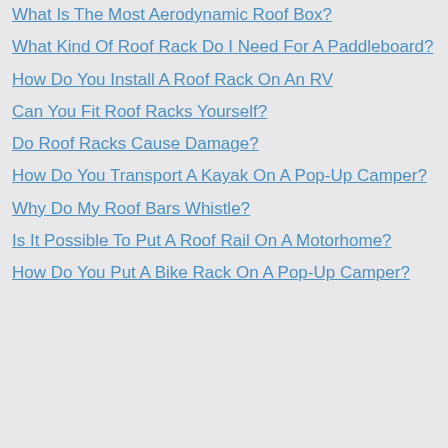What Is The Most Aerodynamic Roof Box?
What Kind Of Roof Rack Do I Need For A Paddleboard?
How Do You Install A Roof Rack On An RV
Can You Fit Roof Racks Yourself?
Do Roof Racks Cause Damage?
How Do You Transport A Kayak On A Pop-Up Camper?
Why Do My Roof Bars Whistle?
Is It Possible To Put A Roof Rail On A Motorhome?
How Do You Put A Bike Rack On A Pop-Up Camper?